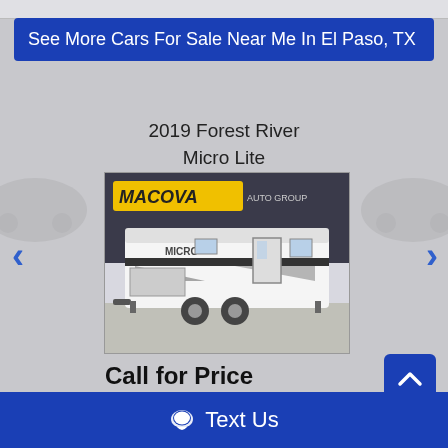See More Cars For Sale Near Me In El Paso, TX
2019 Forest River Micro Lite
[Figure (photo): Photo of a 2019 Forest River Micro Lite travel trailer parked in front of a Macova Auto Group dealership building. The white RV trailer is shown from the side on a paved lot.]
Call for Price
Text Us